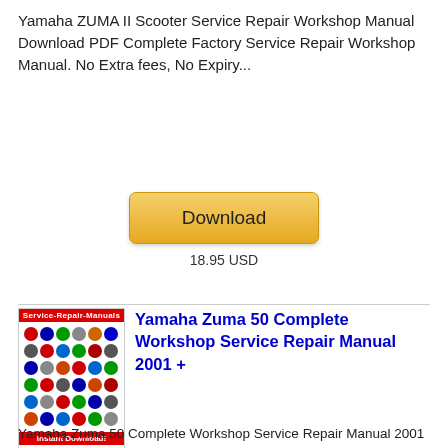Yamaha ZUMA II Scooter Service Repair Workshop Manual Download PDF Complete Factory Service Repair Workshop Manual. No Extra fees, No Expiry...
[Figure (other): Download button (gold/yellow rounded rectangle) with label 'Download']
18.95 USD
[Figure (illustration): Service Repair Manuals book cover thumbnail showing multiple vehicle brand logos on white background, with red header 'Service-Repair-Manuals' and red footer 'Instant Download!']
Yamaha Zuma 50 Complete Workshop Service Repair Manual 2001 +
Yamaha Zuma 50 Complete Workshop Service Repair Manual 2001 + Thanks for taking the time to look at this Complete Service